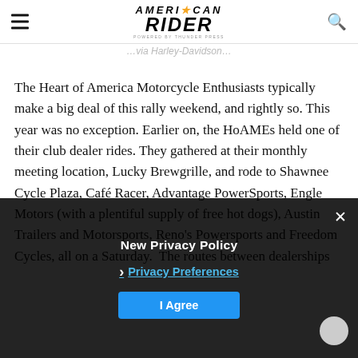American Rider — powered by Thunder Press
The Heart of America Motorcycle Enthusiasts typically make a big deal of this rally weekend, and rightly so. This year was no exception. Earlier on, the HoAMEs held one of their club dealer rides. They gathered at their monthly meeting location, Lucky Brewgrille, and rode to Shawnee Cycle Plaza, Café Racer, Advantage PowerSports, Engle Motors (with a plentiful supply of free hot dogs), Austin Trailers and Motorsports, Reno's Powersports and Freedom Cycles, all on a Saturday. The routes between dealerships managed to include a lot of interesting roads off the beaten path.
New Privacy Policy
Privacy Preferences
I Agree